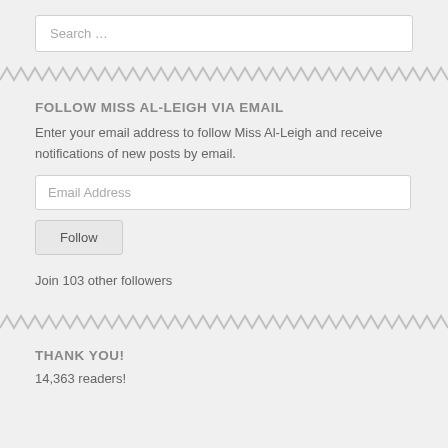Search …
FOLLOW MISS AL-LEIGH VIA EMAIL
Enter your email address to follow Miss Al-Leigh and receive notifications of new posts by email.
Email Address
Follow
Join 103 other followers
THANK YOU!
14,363 readers!